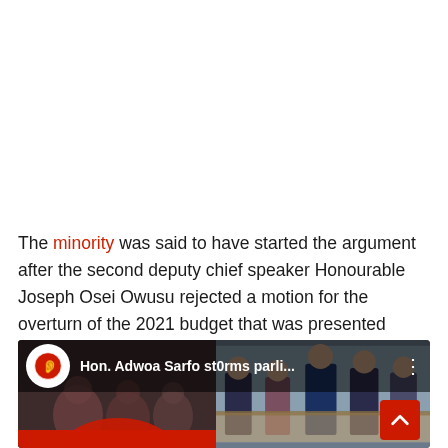The minority was said to have started the argument after the second deputy chief speaker Honourable Joseph Osei Owusu rejected a motion for the overturn of the 2021 budget that was presented before parliament.
[Figure (screenshot): Video thumbnail showing 'Hon. Adwoa Sarfo st0rms parli...' with a channel icon on the left and parliament scene on the right, with a red scroll-to-top button in the bottom right corner.]